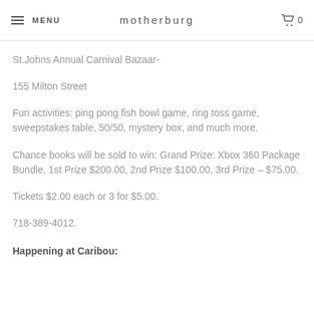MENU   motherburg   0
St.Johns Annual Carnival Bazaar-
155 Milton Street
Fun activities: ping pong fish bowl game, ring toss game, sweepstakes table, 50/50, mystery box, and much more.
Chance books will be sold to win: Grand Prize: Xbox 360 Package Bundle, 1st Prize $200.00, 2nd Prize $100.00, 3rd Prize – $75.00.
Tickets $2.00 each or 3 for $5.00.
718-389-4012.
Happening at Caribou: